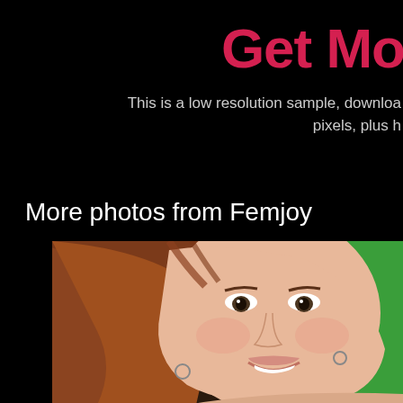Get Mo
This is a low resolution sample, downloa... pixels, plus h...
More photos from Femjoy
[Figure (photo): Close-up portrait of a young woman with auburn/brown hair, smiling, against a green screen background on the right side. The photo is cropped showing primarily her face and bare shoulders.]